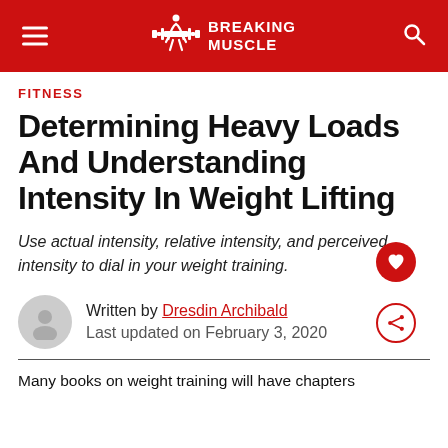BREAKING MUSCLE
FITNESS
Determining Heavy Loads And Understanding Intensity In Weight Lifting
Use actual intensity, relative intensity, and perceived intensity to dial in your weight training.
Written by Dresdin Archibald
Last updated on February 3, 2020
Many books on weight training will have chapters